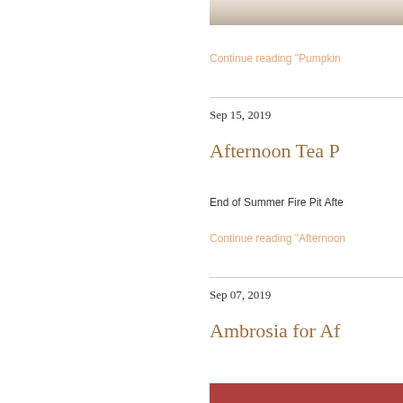[Figure (photo): Bottom of a food/baking photo, cropped, beige/cream tones with copyright watermark]
Continue reading "Pumpkin
Sep 15, 2019
Afternoon Tea P
End of Summer Fire Pit Afte
Continue reading "Afternoon
Sep 07, 2019
Ambrosia for Af
[Figure (photo): Bottom strip of a food photo, partially visible, reddish tones]